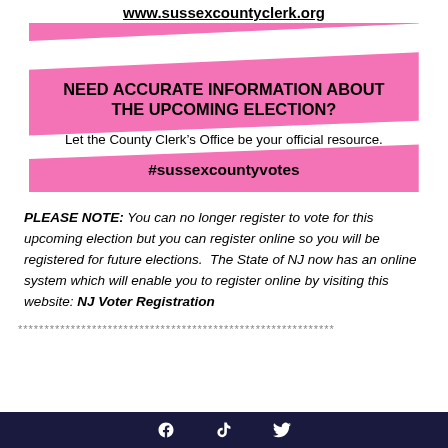www.sussexcountyclerk.org
[Figure (infographic): Pink banner with diagonal white stripes containing text about election information from Sussex County Clerk's Office]
PLEASE NOTE: You can no longer register to vote for this upcoming election but you can register online so you will be registered for future elections.  The State of NJ now has an online system which will enable you to register online by visiting this website: NJ Voter Registration
************************************************************
Footer bar with social media icons